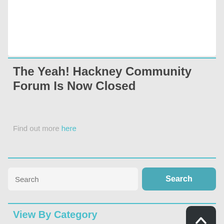[Figure (screenshot): White content box at the top of the page (partial screenshot of web page header area)]
The Yeah! Hackney Community Forum Is Now Closed
Find out more here
Search
View By Category
Accommodation